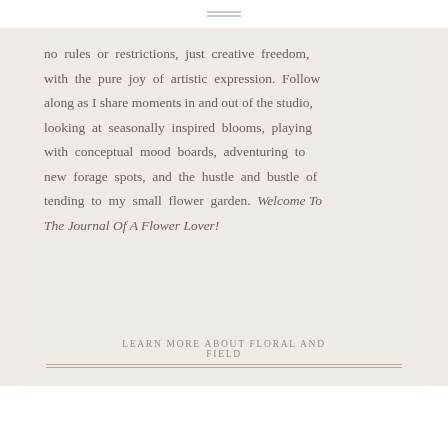≡
no rules or restrictions, just creative freedom, with the pure joy of artistic expression. Follow along as I share moments in and out of the studio, looking at seasonally inspired blooms, playing with conceptual mood boards, adventuring to new forage spots, and the hustle and bustle of tending to my small flower garden. Welcome To The Journal Of A Flower Lover!
LEARN MORE ABOUT FLORAL AND FIELD